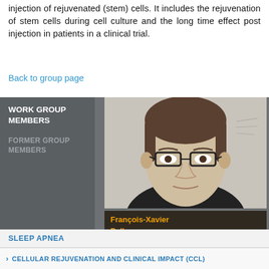injection of rejuvenated (stem) cells. It includes the rejuvenation of stem cells during cell culture and the long time effect post injection in patients in a clinical trial.
Back to group page
WORK GROUP MEMBERS
FORMER GROUP MEMBERS
[Figure (photo): Portrait photo of François-Xavier Pellay, a man with glasses, with name label in orange text on dark background]
[Figure (photo): Portrait photo of Doris Plećaš, a woman in a lab coat, with name label in orange text on dark background]
[Figure (photo): Portrait photo of Dina Balaić, a woman with dark hair, with name label in orange text on dark background]
SLEEP APNEA
› CELLULAR REJUVENATION AND CLINICAL IMPACT (CCL)